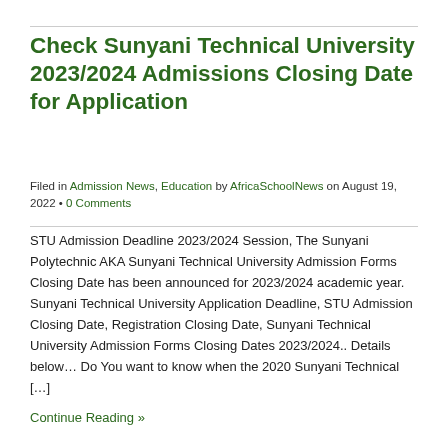Check Sunyani Technical University 2023/2024 Admissions Closing Date for Application
Filed in Admission News, Education by AfricaSchoolNews on August 19, 2022 • 0 Comments
STU Admission Deadline 2023/2024 Session, The Sunyani Polytechnic AKA Sunyani Technical University Admission Forms Closing Date has been announced for 2023/2024 academic year.   Sunyani Technical University Application Deadline, STU Admission Closing Date, Registration Closing Date, Sunyani Technical University Admission Forms Closing Dates 2023/2024.. Details below… Do You want to know when the 2020 Sunyani Technical […]
Continue Reading »